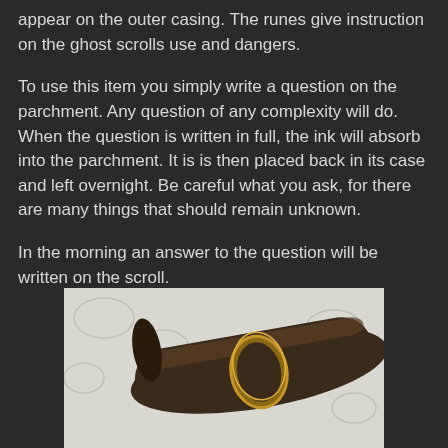appear on the outer casing. The runes give instruction on the ghost scrolls use and dangers.
To use this item you simply write a question on the parchment. Any question of any complexity will do. When the question is written in full, the ink will absorb into the parchment. It is is then placed back in its case and left overnight. Be careful what you ask, for there are many things that should remain unknown.
In the morning an answer to the question will be written on the scroll.
[Figure (photo): A dark wooden scroll case or tube with ornate golden/bronze decorative band or ring around it, resting on a white fabric with floral pattern.]